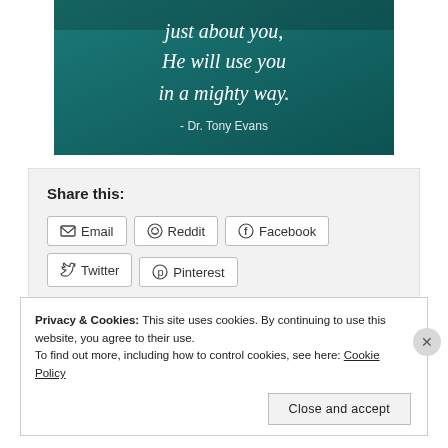[Figure (illustration): Teal/dark green gradient background with white text quote: '...just about you, He will use you in a mighty way.' attributed to '- Dr. Tony Evans']
Share this:
Email | Reddit | Facebook | Twitter | Pinterest
Privacy & Cookies: This site uses cookies. By continuing to use this website, you agree to their use. To find out more, including how to control cookies, see here: Cookie Policy
Close and accept